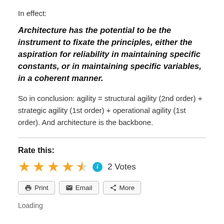In effect:
Architecture has the potential to be the instrument to fixate the principles, either the aspiration for reliability in maintaining specific constants, or in maintaining specific variables, in a coherent manner.
So in conclusion: agility = structural agility (2nd order) + strategic agility (1st order) + operational agility (1st order). And architecture is the backbone.
Rate this:
★★★★½ ℹ 2 Votes
Print  Email  More
Loading